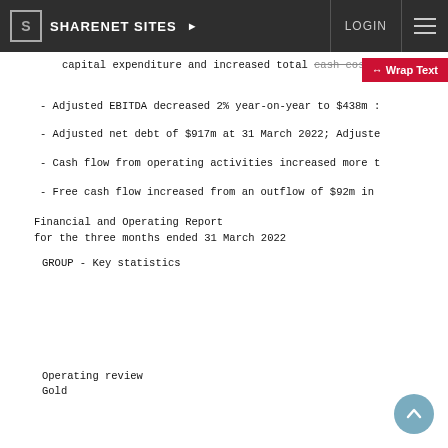SHARENET SITES  LOGIN
capital expenditure and increased total cash costs
- Adjusted EBITDA decreased 2% year-on-year to $438m :
- Adjusted net debt of $917m at 31 March 2022; Adjusted
- Cash flow from operating activities increased more t
- Free cash flow increased from an outflow of $92m in
Financial and Operating Report
for the three months ended 31 March 2022
GROUP - Key statistics
Operating review
Gold